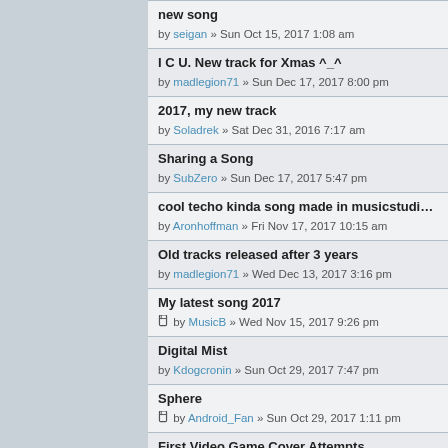new song
by seigan » Sun Oct 15, 2017 1:08 am
I C U. New track for Xmas ^_^
by madlegion71 » Sun Dec 17, 2017 8:00 pm
2017, my new track
by Soladrek » Sat Dec 31, 2016 7:17 am
Sharing a Song
by SubZero » Sun Dec 17, 2017 5:47 pm
cool techo kinda song made in musicstudio for Ipho...
by Aronhoffman » Fri Nov 17, 2017 10:15 am
Old tracks released after 3 years
by madlegion71 » Wed Dec 13, 2017 3:16 pm
My latest song 2017
by MusicB » Wed Nov 15, 2017 9:26 pm
Digital Mist
by Kdogcronin » Sun Oct 29, 2017 7:47 pm
Sphere
by Android_Fan » Sun Oct 29, 2017 1:11 pm
First Video Game Cover Attempts
by MixMasterMatt99 » Tue Jul 25, 2017 8:35 am
Original songs
by ...